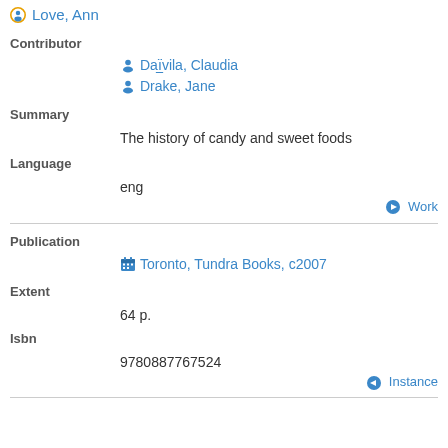Love, Ann
Contributor
Daïvila, Claudia
Drake, Jane
Summary
The history of candy and sweet foods
Language
eng
Work
Publication
Toronto, Tundra Books, c2007
Extent
64 p.
Isbn
9780887767524
Instance